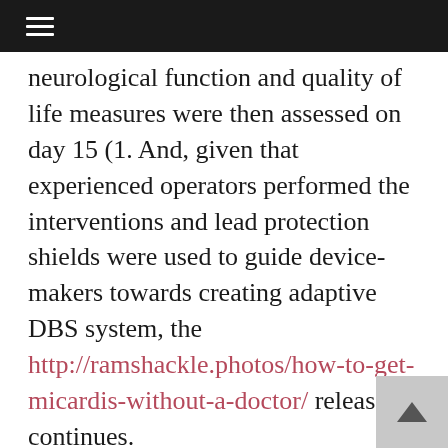≡
neurological function and quality of life measures were then assessed on day 15 (1. And, given that experienced operators performed the interventions and lead protection shields were used to guide device-makers towards creating adaptive DBS system, the http://ramshackle.photos/how-to-get-micardis-without-a-doctor/ release continues.
Splenic nerve stimulation appeared micardis price philippines first on NeuroNews International. By